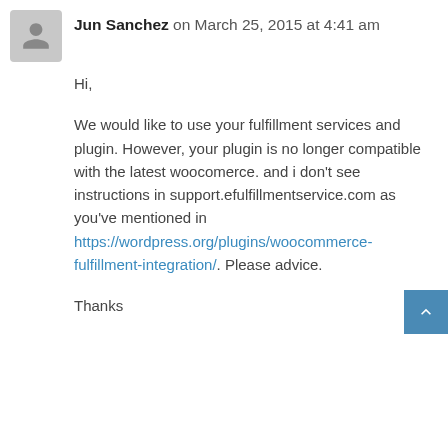Jun Sanchez on March 25, 2015 at 4:41 am
Hi,

We would like to use your fulfillment services and plugin. However, your plugin is no longer compatible with the latest woocomerce. and i don't see instructions in support.efulfillmentservice.com as you've mentioned in https://wordpress.org/plugins/woocommerce-fulfillment-integration/. Please advice.


Thanks